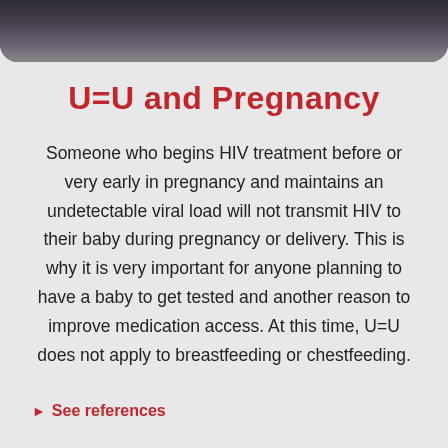[Figure (photo): Cropped photo of a person, likely a pregnant individual, shown from shoulders/torso area against a dark background]
U=U and Pregnancy
Someone who begins HIV treatment before or very early in pregnancy and maintains an undetectable viral load will not transmit HIV to their baby during pregnancy or delivery. This is why it is very important for anyone planning to have a baby to get tested and another reason to improve medication access. At this time, U=U does not apply to breastfeeding or chestfeeding.
See references